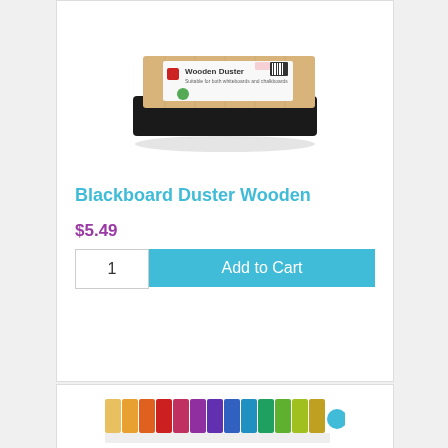[Figure (photo): Wooden blackboard duster/eraser with black felt base and wooden top with product label]
Blackboard Duster Wooden
$5.49
1  Add to Cart
[Figure (photo): Colorful set of art markers or pastels in a row, partially visible]